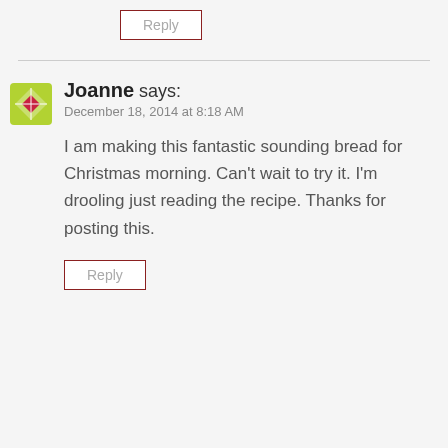Reply
Joanne says:
December 18, 2014 at 8:18 AM
I am making this fantastic sounding bread for Christmas morning. Can't wait to try it. I'm drooling just reading the recipe. Thanks for posting this.
Reply